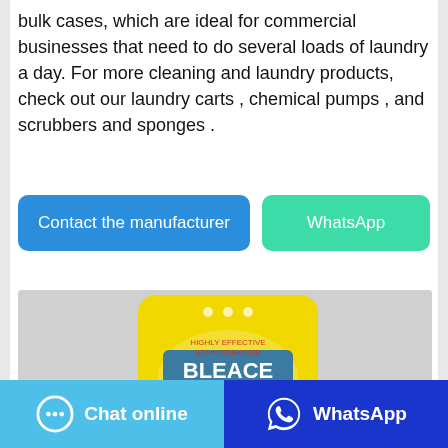bulk cases, which are ideal for commercial businesses that need to do several loads of laundry a day. For more cleaning and laundry products, check out our laundry carts , chemical pumps , and scrubbers and sponges .
[Figure (other): Two call-to-action buttons: a blue 'Contact the manufacturer' button and a green 'WhatsApp' button]
[Figure (photo): A yellow bag of Bleace Lemon Freshness laundry detergent powder on a grey background]
[Figure (other): Two footer buttons: a light blue 'Chat online' button with chat icon, and a dark blue 'WhatsApp' button with WhatsApp icon]